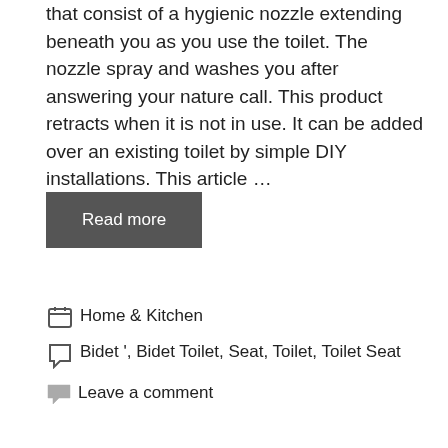that consist of a hygienic nozzle extending beneath you as you use the toilet. The nozzle spray and washes you after answering your nature call. This product retracts when it is not in use. It can be added over an existing toilet by simple DIY installations. This article …
Read more
Home & Kitchen
Bidet ', Bidet Toilet, Seat, Toilet, Toilet Seat
Leave a comment